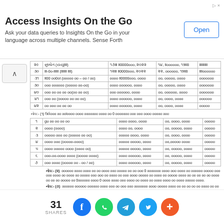[Figure (other): Ad banner: Access Insights On the Go with Open button]
| ક્ર | રજાનું નામ | તારીખ ૨૦૨૨ | તારીખ ૧૯૪૪ | વાર |
| --- | --- | --- | --- | --- |
| ૨૯ | સુક્કોત (યહૂદી) | ૧૭મી ઓક્ટોબર, ૨૦૨૨ | ૧૪, અશ્વિન, ૧૯૪૪ | સોમવાર |
| ૩૦ | ઈદ-એ-મિલૂદ (મુસ્લિમ શૌહ) | ૧૨મી ઓક્ટોબર, ૨૦૨૨ | ૨૨, અશ્વિન, ૧૯૪૪ | શુક્રવાર |
| ૩૧ | ખ્ન તોરહ (ભારો. વદ - ૧૨ / ૧૩) | ૨૨મી ઓક્ટોબર, ૨૦૨૨ | ૩૦, અશ્વિન, ૧૯૪૪ | શનિવાર |
| ૩૦ | ઉેવ દિવાળી (ભારત. શ્ર-૧૫) | ૦૮મી નવેમ્બર, ૨૦૨૨ | ૧૫, કાર્તિ, ૧૯૪૪ | મંગળવાર |
| ૪૦ | શ્રીમદ ભગ.ગીત જ્યયન્તી(ભાગ.સ. ૧૧) | ૦૩જી ડિસેમ્બર, ૨૦૨૨ | ૧૨, અગ્રહ.સ.ઓ, ૧૯૪૪ | શનિવાર |
| ૪૧ | બોક્સિ.ગ ડે (ભારત. ૧0)ના દિ.ડ.) | ૧૬મી ડિસેમ્બર, ૨૦૨૨ | ૦૧, પૌ.સ, ૧૯૪૪ | સોમવાર |
| ૪૨ | ગુ.ગોવિ.સિ.ઓ ૫ ।0oolglou | ૨૪મી ડિસેમ્બર, ૨૦૨૨ | ૦૮, પૌ.સ, ૧૯૪૪ | ગુરૂવાર |
નોઘ:- (૧) ઉ0ં.ધ0 ભ0 ભooo0oles rooh0 oles 0 0oo 00 oles 0 0oo 00
| ક્ર | રજાનું નામ | તારીખ ૨૦૨૨ | તારીખ | વાર |
| --- | --- | --- | --- | --- |
| ૧ | ગુ.ગોવિ.સિ.ઓ ૫ ।0oolglou | ૧મી જ.ઉા.રી, ૨૦૨૨ | ૧૧, પૌ.સ, ૧૯૪૩ | રવિવાર |
| ૨ | ભ.llooloo (yyy) | ૫૩ I ૫oo, ૨૦૨૨ | ૧૫, જ.ous, ૧૯૪૪ | રવિવાર |
| ૩ | ll00 00 0o0 ooo (ll00 0 00I  0) | ૧૭lll I1oo, ૨૦૨૨ | ૧૫, અ00ll, ૧૯૪૪ | રવિવાર |
| ૪ | oo l00 0oo (ll00l-0o0l0) | ૨૧lll ll00000, ૨૦૨૨ | ૩૦,Ioooo ૧૯૪૪ | રવિવાર |
| ૫ | ooooo 00000 00000oo (ooooo oo) | ૨૪lll ll00000, ૨૦૨૨ | ૦૧, ll000, ૧૯૪૪ | રવિવાર |
| ૬ | Ioo-0o-oo0oo oo0oo (ll000o oooo) | 0oo ll0000o0, oo0oo | 0o, ooooo, oooo | રવિવાર |
| ૭ | oo0 oo0oo (oooo oo - oo / oo) | oooo oo0ooo oooo | 0o, oooo, oooo | રવિવાર |
નોઘ:- (૨) સ.0.oo ol.ooloo ooooo oo oo oo oo l0.oooo 00 ool0oo oo...
નોઘ:- (૩) ...ooo oo ooooo oo 0oooo oo oo0 oo oo oo oo oo ooo 000 oo...